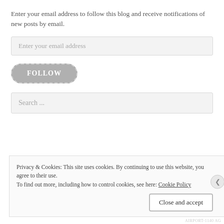Enter your email address to follow this blog and receive notifications of new posts by email.
[Figure (screenshot): Email input field with placeholder text 'Enter your email address']
[Figure (screenshot): FOLLOW button styled with rounded rectangle and dashed border on grey background]
[Figure (screenshot): Search input field with placeholder text 'Search ...']
Privacy & Cookies: This site uses cookies. By continuing to use this website, you agree to their use. To find out more, including how to control cookies, see here: Cookie Policy
[Figure (screenshot): Close and accept button]